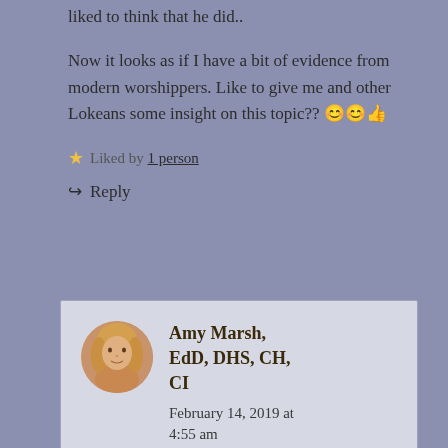liked to think that he did..
Now it looks as if I have a bit of evidence from modern worshippers. Like to give me and other Lokeans some insight on this topic?? 😊😊👍
⭐ Liked by 1 person
↪ Reply
Amy Marsh, EdD, DHS, CH, CI
February 14, 2019 at 4:55 am